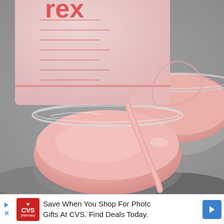[Figure (photo): A Pyrex measuring cup pouring pink strawberry milk or cream into glass bowls. The liquid is a light pink color and appears thick and creamy. Multiple glass bowls are visible filled with the pink liquid, set against a dark metallic background.]
Save When You Shop For Photo Gifts At CVS. Find Deals Today.